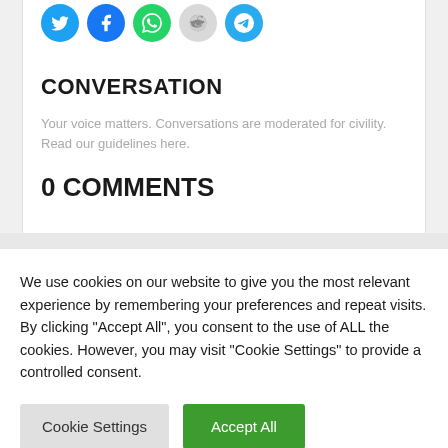[Figure (other): Social media share icons: Twitter (blue), Facebook (blue), WhatsApp (green), Reddit (gray), Telegram (blue)]
CONVERSATION
Your voice matters. Conversations are moderated for civility. Read our guidelines here.
0 COMMENTS
We use cookies on our website to give you the most relevant experience by remembering your preferences and repeat visits. By clicking "Accept All", you consent to the use of ALL the cookies. However, you may visit "Cookie Settings" to provide a controlled consent.
Cookie Settings | Accept All